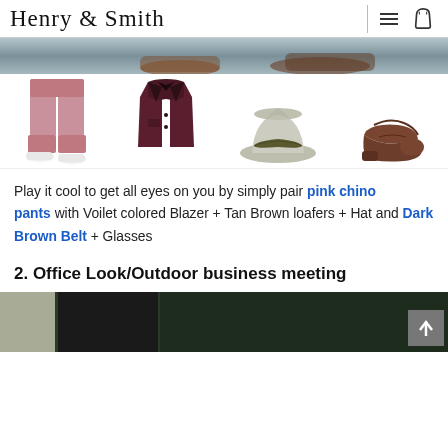Henry & Smith
[Figure (photo): Hero banner image showing men's shoes/feet on pavement]
[Figure (photo): Four product images in a row: pink chino pants, violet/maroon blazer, grey fedora hat, and brown loafer shoes]
Play it cool to get all eyes on you by simply pair pink chino pants with Voilet colored Blazer + Tan Brown loafers + Hat and Dark Brown Belt + Glasses
2. Office Look/Outdoor business meeting
[Figure (photo): Bottom strip showing start of another product/outfit photo]